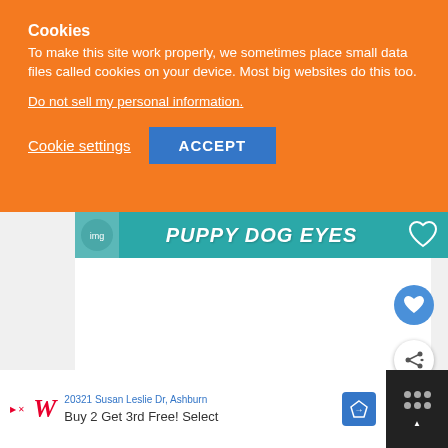Cookies
To make this site work properly, we sometimes place small data files called cookies on your device. Most big websites do this too.
Do not sell my personal information.
Cookie settings  ACCEPT
[Figure (screenshot): Puppy Dog Eyes banner with teal background and white bold italic text]
[Figure (screenshot): Video player content area with heart and share buttons on the right, and a What's Next Adventure Time thumbnail]
WHAT'S NEXT → Adventure Time...
20321 Susan Leslie Dr, Ashburn  Buy 2 Get 3rd Free! Select